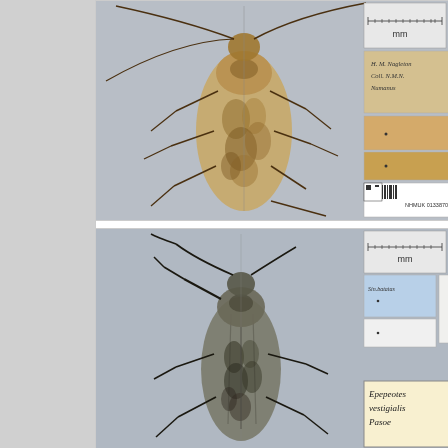[Figure (photo): Museum specimen photograph of a longhorn beetle (Cerambycidae) pinned dorsally, showing mottled brown/golden patterning on elytra, with long antennae. Several collection labels visible to the right including handwritten label reading 'H. M. Nagleton, Coll. N.M.N. Numanus' and blank orange labels, plus a barcode label reading NHMUK 013387020. Millimeter scale bar visible at top.]
NHMUK 013387020
[Figure (photo): Museum specimen photograph of a second longhorn beetle (Cerambycidae) pinned dorsally, darker coloration with mottled black/grey pattern on elytra, long antennae. Several collection labels visible to the right including a light blue label, a white label, and a handwritten label reading 'Epepeotes vestigialis Pasoe'. Millimeter scale bar visible at top right.]